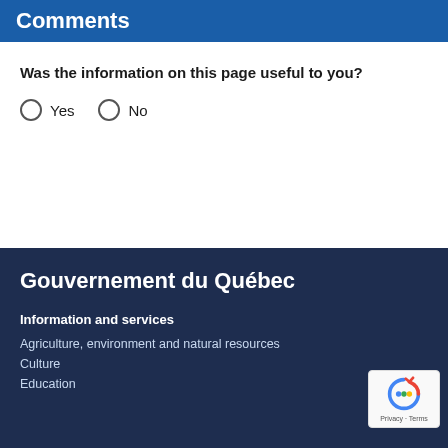Comments
Was the information on this page useful to you?
Yes   No
Gouvernement du Québec
Information and services
Agriculture, environment and natural resources
Culture
Education